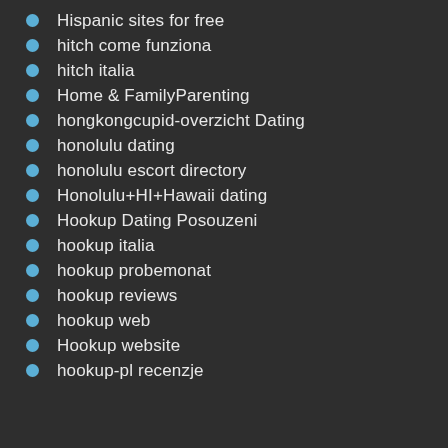Hispanic sites for free
hitch come funziona
hitch italia
Home & FamilyParenting
hongkongcupid-overzicht Dating
honolulu dating
honolulu escort directory
Honolulu+HI+Hawaii dating
Hookup Dating Posouzeni
hookup italia
hookup probemonat
hookup reviews
hookup web
Hookup website
hookup-pl recenzje